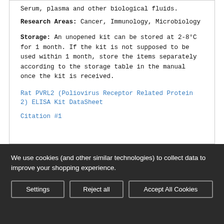Serum, plasma and other biological fluids.
Research Areas: Cancer, Immunology, Microbiology
Storage: An unopened kit can be stored at 2-8°C for 1 month. If the kit is not supposed to be used within 1 month, store the items separately according to the storage table in the manual once the kit is received.
Rat PVRL2 (Poliovirus Receptor Related Protein 2) ELISA Kit DataSheet
Citation #1
We use cookies (and other similar technologies) to collect data to improve your shopping experience.